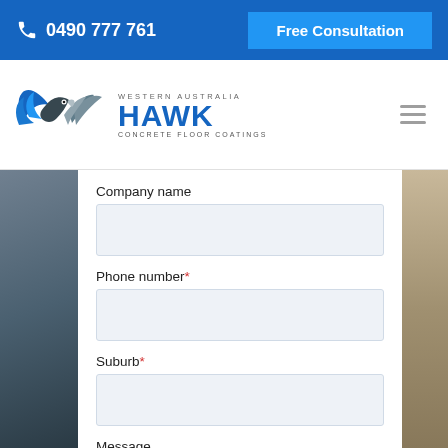0490 777 761 | Free Consultation
[Figure (logo): Western Australia Hawk Concrete Floor Coatings logo with hawk bird graphic in blue and grey]
Company name
Phone number*
Suburb*
Message